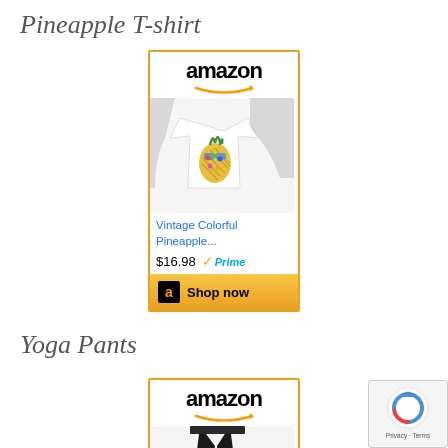Pineapple T-shirt
[Figure (screenshot): Amazon product ad for Vintage Colorful Pineapple T-shirt priced at $16.98 with Prime, with Shop now button]
Yoga Pants
[Figure (screenshot): Amazon product ad for yoga pants, partially visible, showing Amazon logo and product image]